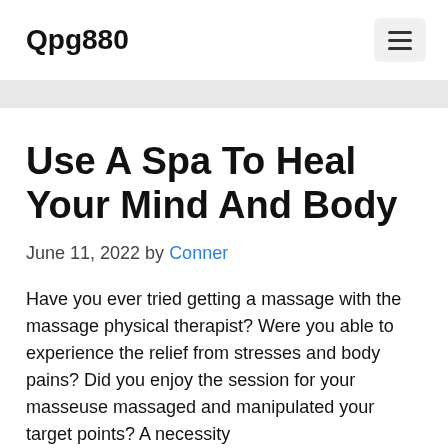Qpg880
Use A Spa To Heal Your Mind And Body
June 11, 2022 by Conner
Have you ever tried getting a massage with the massage physical therapist? Were you able to experience the relief from stresses and body pains? Did you enjoy the session for your masseuse massaged and manipulated your target points? A necessity